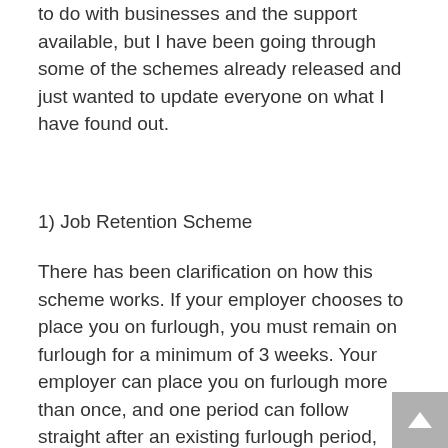to do with businesses and the support available, but I have been going through some of the schemes already released and just wanted to update everyone on what I have found out.
1) Job Retention Scheme
There has been clarification on how this scheme works. If your employer chooses to place you on furlough, you must remain on furlough for a minimum of 3 weeks. Your employer can place you on furlough more than once, and one period can follow straight after an existing furlough period, while the scheme is open.
While an employee is on furlough, they are able to undertake training or volunteer but the employee cannot make money for their employer or provide